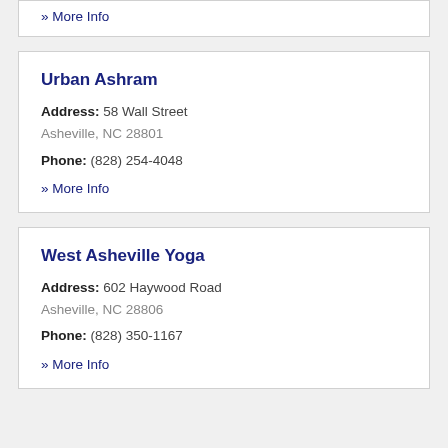» More Info
Urban Ashram
Address: 58 Wall Street
Asheville, NC 28801
Phone: (828) 254-4048
» More Info
West Asheville Yoga
Address: 602 Haywood Road
Asheville, NC 28806
Phone: (828) 350-1167
» More Info